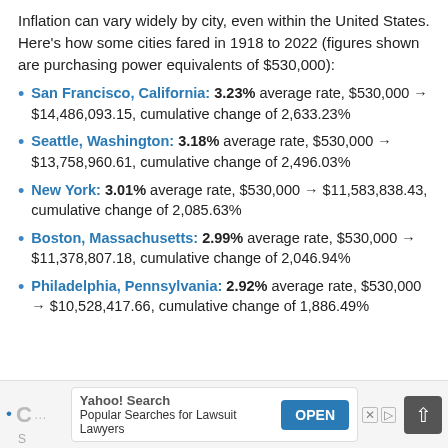Inflation can vary widely by city, even within the United States. Here's how some cities fared in 1918 to 2022 (figures shown are purchasing power equivalents of $530,000):
San Francisco, California: 3.23% average rate, $530,000 → $14,486,093.15, cumulative change of 2,633.23%
Seattle, Washington: 3.18% average rate, $530,000 → $13,758,960.61, cumulative change of 2,496.03%
New York: 3.01% average rate, $530,000 → $11,583,838.43, cumulative change of 2,085.63%
Boston, Massachusetts: 2.99% average rate, $530,000 → $11,378,807.18, cumulative change of 2,046.94%
Philadelphia, Pennsylvania: 2.92% average rate, $530,000 → $10,528,417.66, cumulative change of 1,886.49%